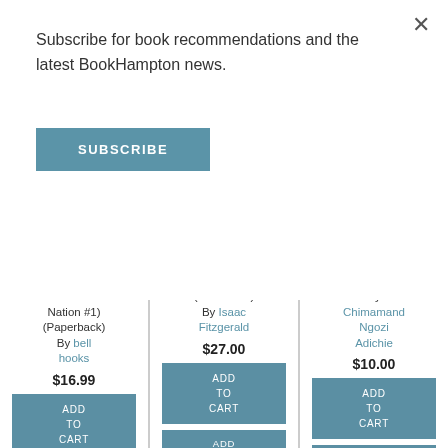Subscribe for book recommendations and the latest BookHampton news.
SUBSCRIBE
to the Nation #1) (Paperback) By bell hooks $16.99
(Hardcover) By Isaac Fitzgerald $27.00
By Chimamanda Ngozi Adichie $10.00